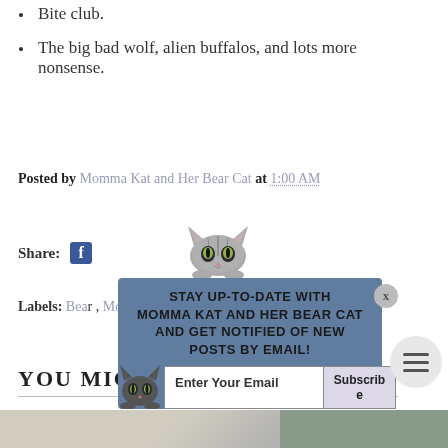Bite club.
The big bad wolf, alien buffalos, and lots more nonsense.
Posted by Momma Kat and Her Bear Cat at 1:00 AM
Share: f
Labels: Bear ... Momma Kat, Post of ...
[Figure (screenshot): Popup modal with cat illustration at top asking user to stay up-to-date with Momma Kat and Her Bear Cat and get notified of new posts by email. Has email input field and Subscribe button. Small cat illustration at bottom left. X close button at top right.]
YOU MIGHT ALSO LIKE
[Figure (photo): Bottom strip showing partial photos, dark background with two image panels visible]